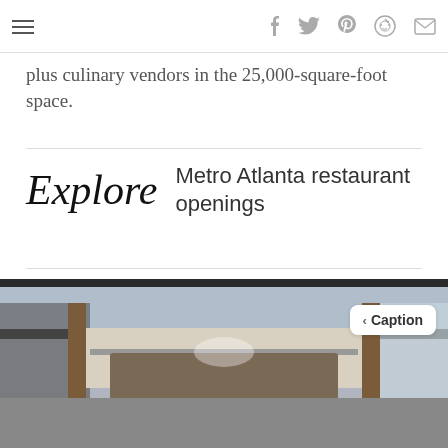Social share icons: Facebook, Twitter, Pinterest, Reddit, Email
plus culinary vendors in the 25,000-square-foot space.
Explore Metro Atlanta restaurant openings
[Figure (photo): Interior of a large food hall with industrial ceiling, large windows, decorative bare trees flanking a central countertop/bar area with 'Build' signage, pendant lights, and open floor space.]